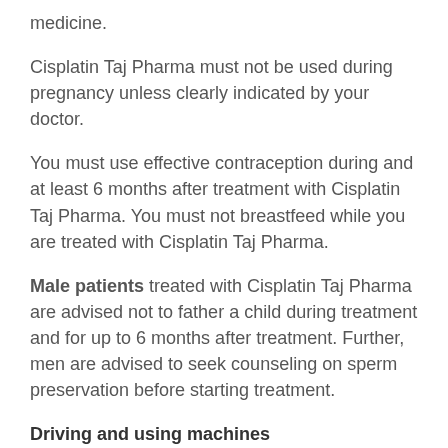medicine.
Cisplatin Taj Pharma must not be used during pregnancy unless clearly indicated by your doctor.
You must use effective contraception during and at least 6 months after treatment with Cisplatin Taj Pharma. You must not breastfeed while you are treated with Cisplatin Taj Pharma.
Male patients treated with Cisplatin Taj Pharma are advised not to father a child during treatment and for up to 6 months after treatment. Further, men are advised to seek counseling on sperm preservation before starting treatment.
Driving and using machines